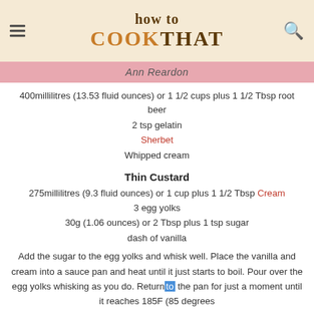how to COOK THAT
Ann Reardon
400millilitres (13.53 fluid ounces) or 1 1/2 cups plus 1 1/2 Tbsp root beer
2 tsp gelatin
Sherbet
Whipped cream
Thin Custard
275millilitres (9.3 fluid ounces) or 1 cup plus 1 1/2 Tbsp Cream
3 egg yolks
30g (1.06 ounces) or 2 Tbsp plus 1 tsp sugar
dash of vanilla
Add the sugar to the egg yolks and whisk well. Place the vanilla and cream into a sauce pan and heat until it just starts to boil. Pour over the egg yolks whisking as you do. Return to the pan for just a moment until it reaches 185F (85 degrees